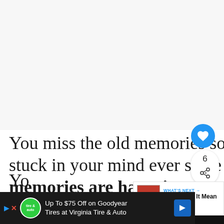[Figure (other): Large white/light grey blank area at top of page, representing an image placeholder or blank content region]
You miss the old memories so much that they are stuck in your mind ever since then. The good and the memories are haunting you.
[Figure (other): What's Next widget showing a book thumbnail and text 'WHAT'S NEXT → What Does It Mean When...']
[Figure (other): Advertisement banner: Up To $75 Off on Goodyear Tires at Virginia Tire & Auto]
Yo